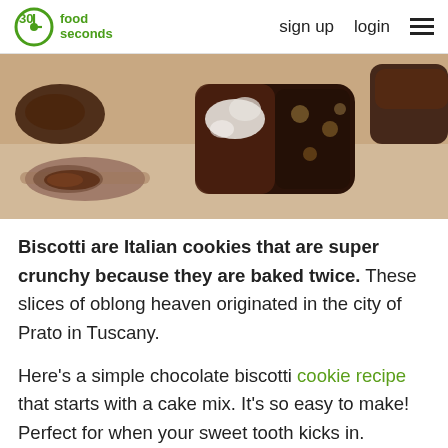30 seconds food  sign up  login
[Figure (photo): Close-up photo of chocolate biscotti cookies — some dipped in chocolate with white chocolate drizzle, others showing the dark chocolate interior with whole hazelnuts. A spoon with chocolate spread is visible on the left.]
Biscotti are Italian cookies that are super crunchy because they are baked twice. These slices of oblong heaven originated in the city of Prato in Tuscany.
Here's a simple chocolate biscotti cookie recipe that starts with a cake mix. It's so easy to make! Perfect for when your sweet tooth kicks in.
Cuisine: Italian
Prep Time: 10 minutes